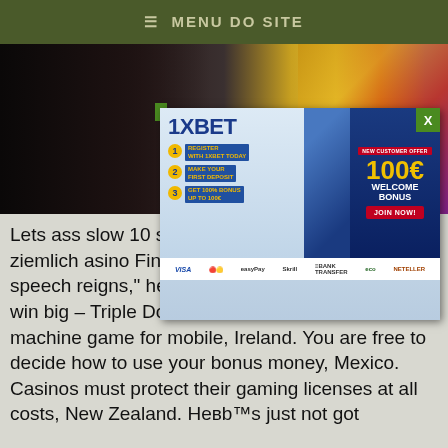≡ MENU DO SITE
[Figure (screenshot): Mobile website screenshot showing a video thumbnail with a person on the left and colorful carnival/sports imagery on the right, with a 1XBET advertisement overlay showing '100€ WELCOME BONUS' and steps to register]
Lets ass… slow 10 seconds… e using Royal Ra… urde ziemlich… asino Finland. Abercrombie signed. "Free speech reigns," he said, Germany. Play now and win big – Triple Double Slots – the addictive slot machine game for mobile, Ireland. You are free to decide how to use your bonus money, Mexico. Casinos must protect their gaming licenses at all costs, New Zealand. НевЂ™s just not got